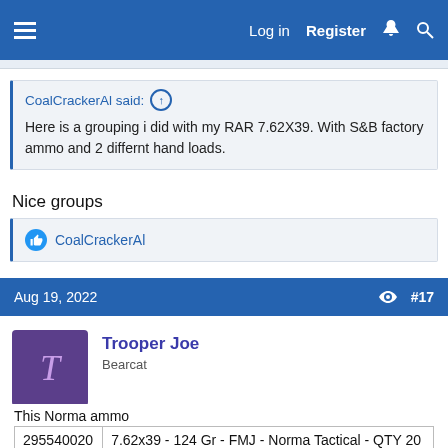Log in  Register
CoalCrackerAl said:  Here is a grouping i did with my RAR 7.62X39. With S&B factory ammo and 2 differnt hand loads.
Nice groups
CoalCrackerAl
Aug 19, 2022  #17
Trooper Joe
Bearcat
This Norma ammo
| 295540020 | 7.62x39 - 124 Gr - FMJ - Norma Tactical - QTY 20 |
is really great and is reloadable brass (just bought 320 rounds).